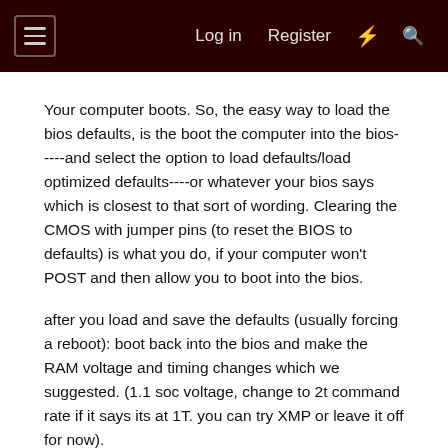Log in  Register
Your computer boots. So, the easy way to load the bios defaults, is the boot the computer into the bios-----and select the option to load defaults/load optimized defaults----or whatever your bios says which is closest to that sort of wording. Clearing the CMOS with jumper pins (to reset the BIOS to defaults) is what you do, if your computer won't POST and then allow you to boot into the bios.
after you load and save the defaults (usually forcing a reboot): boot back into the bios and make the RAM voltage and timing changes which we suggested. (1.1 soc voltage, change to 2t command rate if it says its at 1T. you can try XMP or leave it off for now).
Read the manual for your motherboard to help you get more knowledgeable with the bios and what's in it. As well as other aspects of your motherboard. That might sound annoying to you. But even as an advanced builder myself----I look at the manuals for every new motherboard I purchase. I just got an